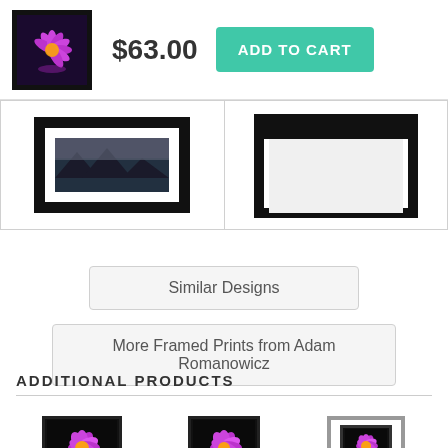[Figure (screenshot): Product thumbnail showing a purple water lily on dark background in a black frame]
$63.00
ADD TO CART
[Figure (screenshot): Two framed art print product images side by side showing landscape/nature photography]
Similar Designs
More Framed Prints from Adam Romanowicz
ADDITIONAL PRODUCTS
[Figure (photo): Three product cards showing purple water lily: unframed print, canvas, and framed print]